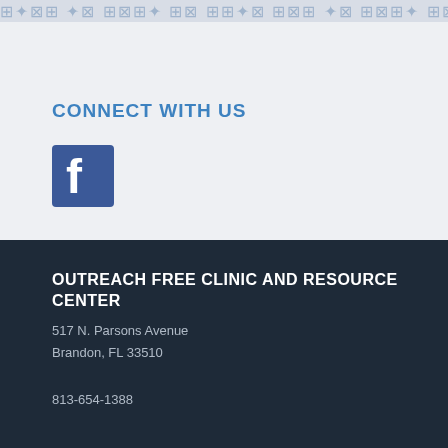[Figure (other): Decorative pattern bar with repeating cross/medical and letter symbols in light blue on gray background]
CONNECT WITH US
[Figure (logo): Facebook logo icon - blue square with white lowercase f]
OUTREACH FREE CLINIC AND RESOURCE CENTER
517 N. Parsons Avenue
Brandon, FL 33510
813-654-1388